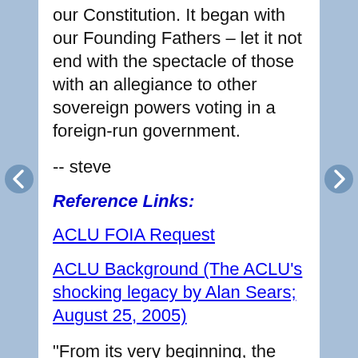our Constitution. It began with our Founding Fathers – let it not end with the spectacle of those with an allegiance to other sovereign powers voting in a foreign-run government.
-- steve
Reference Links:
ACLU FOIA Request
ACLU Background (The ACLU's shocking legacy by Alan Sears; August 25, 2005)
“From its very beginning, the ACLU had strong socialist and communist ties. As early as 1931, the U.S. Congress was alarmed by the ACLU's devotion to communism. A